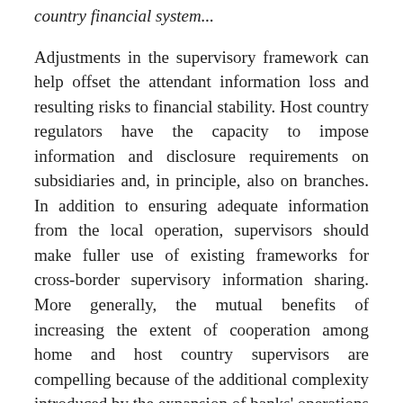country financial system...
Adjustments in the supervisory framework can help offset the attendant information loss and resulting risks to financial stability. Host country regulators have the capacity to impose information and disclosure requirements on subsidiaries and, in principle, also on branches. In addition to ensuring adequate information from the local operation, supervisors should make fuller use of existing frameworks for cross-border supervisory information sharing. More generally, the mutual benefits of increasing the extent of cooperation among home and host country supervisors are compelling because of the additional complexity introduced by the expansion of banks' operations into EMEs, the intensifying competitive dynamic in global markets